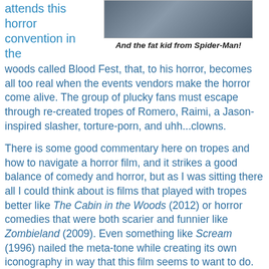attends this horror convention in the woods called Blood Fest, that, to his horror, becomes all too real when the events vendors make the horror come alive. The group of plucky fans must escape through re-created tropes of Romero, Raimi, a Jason-inspired slasher, torture-porn, and uhh...clowns.
[Figure (photo): A photo showing people at what appears to be an event or convention]
And the fat kid from Spider-Man!
There is some good commentary here on tropes and how to navigate a horror film, and it strikes a good balance of comedy and horror, but as I was sitting there all I could think about is films that played with tropes better like The Cabin in the Woods (2012) or horror comedies that were both scarier and funnier like Zombieland (2009). Even something like Scream (1996) nailed the meta-tone while creating its own iconography in way that this film seems to want to do. You get a pathetic feeling as this flick continually name-drops major horror icons like Freddy and Jason while having to settle for knock-offs to actually fight like the fictional Arborist. I can't really sum it up better than this headline.